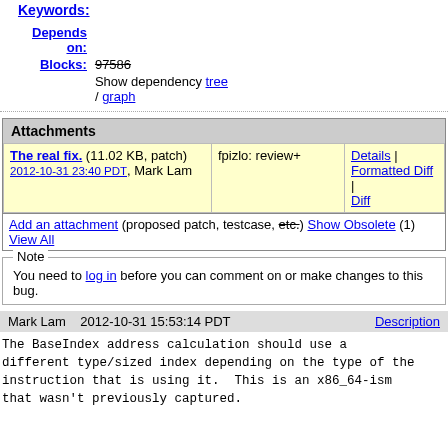Keywords:
| Depends on: |  |
| Blocks: | 97586 |
|  | Show dependency tree / graph |
Attachments
| The real fix. (11.02 KB, patch)
2012-10-31 23:40 PDT, Mark Lam | fpizlo: review+ | Details | Formatted Diff | Diff |
| Add an attachment (proposed patch, testcase, etc.) Show Obsolete (1) View All |  |  |
Note
You need to log in before you can comment on or make changes to this bug.
Mark Lam    2012-10-31 15:53:14 PDT    Description
The BaseIndex address calculation should use a different type/sized index depending on the type of the instruction that is using it.  This is an x86_64-ism that wasn't previously captured.